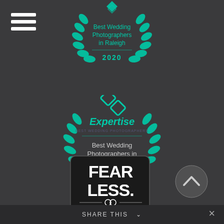[Figure (logo): Hamburger menu icon with three white horizontal lines on dark background]
[Figure (logo): Expertise badge - Best Wedding Photographers in Raleigh 2020, teal laurel wreath design]
[Figure (logo): Expertise badge - Best Wedding Photographers in Durham 2020, teal laurel wreath with Expertise logo]
[Figure (logo): Fearless Photographers badge - black square with FEAR LESS. text and PHOTOGRAPHERS below]
[Figure (other): Circular scroll-up button with chevron arrow]
Share This